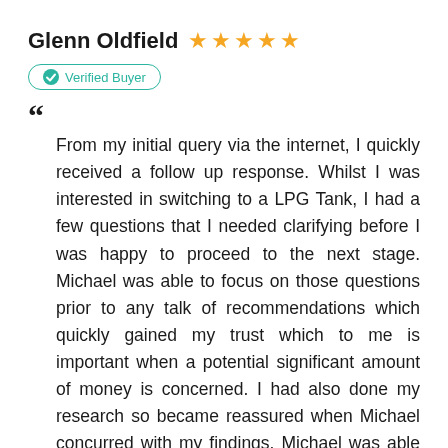Glenn Oldfield ★★★★★
Verified Buyer
From my initial query via the internet, I quickly received a follow up response. Whilst I was interested in switching to a LPG Tank, I had a few questions that I needed clarifying before I was happy to proceed to the next stage. Michael was able to focus on those questions prior to any talk of recommendations which quickly gained my trust which to me is important when a potential significant amount of money is concerned. I had also done my research so became reassured when Michael concurred with my findings. Michael was able to offer various options to suit my needs which I was able to fully understand. Even when I had selected my prefferred option, Michael